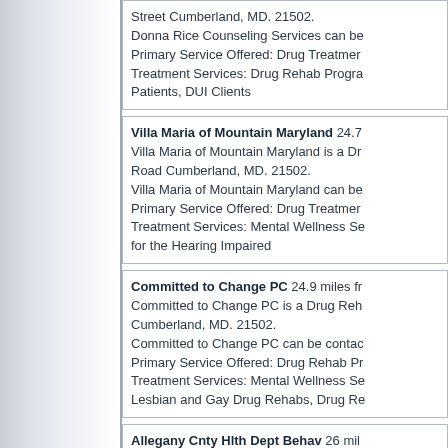Street Cumberland, MD. 21502. Donna Rice Counseling Services can be contacted... Primary Service Offered: Drug Treatment Services: Drug Rehab Programs, DUI Patients, DUI Clients
Villa Maria of Mountain Maryland 24.7... Villa Maria of Mountain Maryland is a Dr... Road Cumberland, MD. 21502. Villa Maria of Mountain Maryland can be... Primary Service Offered: Drug Treatment Services: Mental Wellness Se... for the Hearing Impaired
Committed to Change PC 24.9 miles fr... Committed to Change PC is a Drug Reh... Cumberland, MD. 21502. Committed to Change PC can be contac... Primary Service Offered: Drug Rehab Pr... Treatment Services: Mental Wellness Se... Lesbian and Gay Drug Rehabs, Drug Re...
Allegany Cnty Hlth Dept Behav 26 mil... Allegany Cnty Hlth Dept Behav is a Dru... Road SE Cumberland, MD. 21502. Allegany Cnty Hlth Dept Behav can be c... Primary Service Offered: Drug Rehab Pr... Treatment Services: Drug Rehab Progra... Drug Abuse, Services for Teens and Ado...